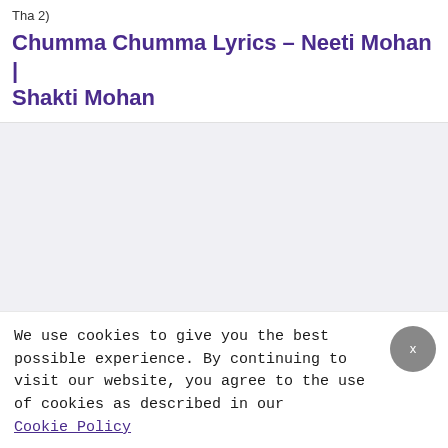Tha 2)
Chumma Chumma Lyrics – Neeti Mohan | Shakti Mohan
[Figure (other): Advertisement or embedded content area, light gray background]
We use cookies to give you the best possible experience. By continuing to visit our website, you agree to the use of cookies as described in our Cookie Policy